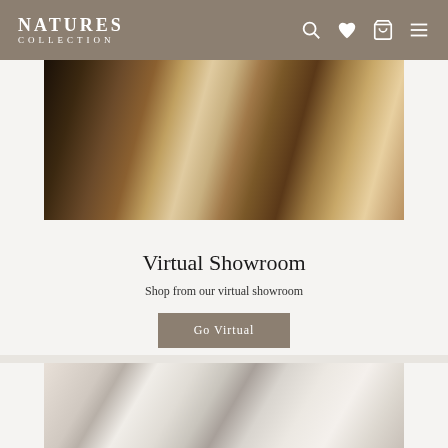NATURES COLLECTION
[Figure (photo): Interior showroom photo showing fur coats on display, plush furniture and decorative items in a luxurious retail/home setting]
Virtual Showroom
Shop from our virtual showroom
Go Virtual
[Figure (photo): Two women smiling, wearing grey/sage faux fur coats, seated in a bright interior setting]